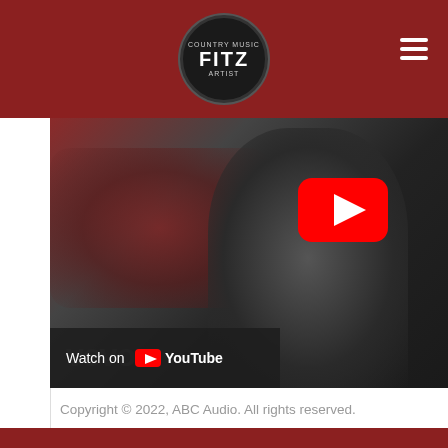FITZ - Country Music Artist header with logo and navigation
[Figure (screenshot): YouTube video thumbnail showing a man with beard wearing a black jacket and cap, with a red vehicle in the background. Large red YouTube play button visible in upper right of video. 'Watch on YouTube' bar at bottom left. VEVO watermark visible.]
Copyright © 2022, ABC Audio. All rights reserved.